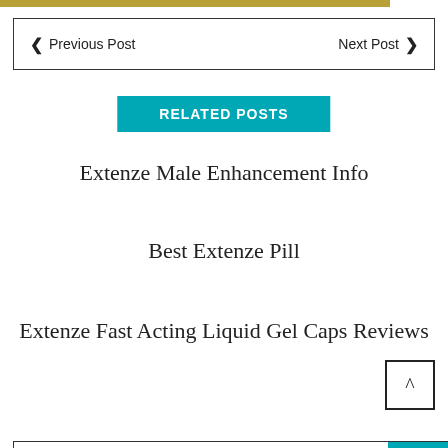< Previous Post   Next Post >
RELATED POSTS
Extenze Male Enhancement Info
Best Extenze Pill
Extenze Fast Acting Liquid Gel Caps Reviews